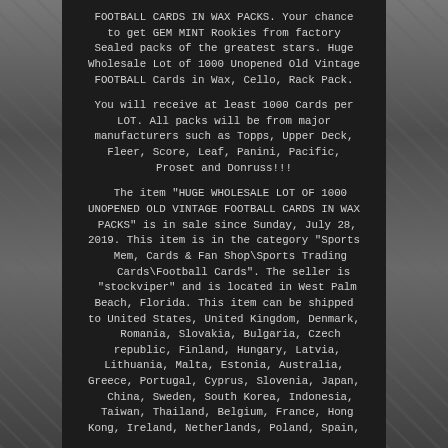FOOTBALL CARDS IN WAX PACKS. Your chance to get GEM MINT Rookies from factory Sealed packs of the greatest stars. Huge Wholesale Lot of 1000 Unopened Old Vintage FOOTBALL Cards in Wax, Cello, Rack Pack.
You will receive at least 1000 Cards per LOT. All packs will be from major manufacturers such as Topps, Upper Deck, Fleer, Score, Leaf, Panini, Pacific, Proset and Donruss!!!
The item "HUGE WHOLESALE LOT OF 1000 UNOPENED OLD VINTAGE FOOTBALL CARDS IN WAX PACKS" is in sale since Sunday, July 28, 2019. This item is in the category "Sports Mem, Cards & Fan Shop\Sports Trading Cards\Football Cards". The seller is "stockviper" and is located in West Palm Beach, Florida. This item can be shipped to United States, United Kingdom, Denmark, Romania, Slovakia, Bulgaria, Czech republic, Finland, Hungary, Latvia, Lithuania, Malta, Estonia, Australia, Greece, Portugal, Cyprus, Slovenia, Japan, China, Sweden, South Korea, Indonesia, Taiwan, Thailand, Belgium, France, Hong Kong, Ireland, Netherlands, Poland, Spain,